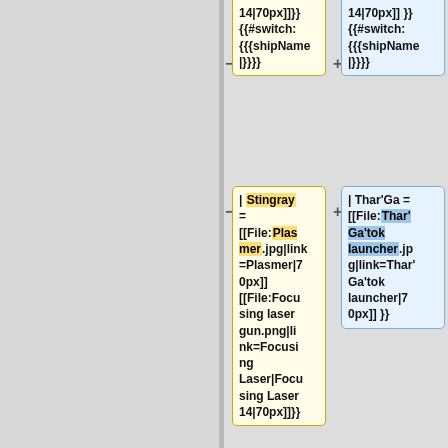14|70px]]}} {{#switch: {{{shipName|}}}}
14|70px]] }} {{#switch: {{{shipName|}}}}
| Stingray = [[File:Plasmer.jpg|link=Plasmer|70px]] [[File:Focusing laser gun.png|link=Focusing Laser|Focusing Laser 14|70px]]}}
| Thar'Ga = [[File:Thar'Ga'tok launcher.jpg|link=Thar'Ga'tok launcher|70px]] }}
|11 = [[File:Ion Emitter 13.jpg|link=Ion...
| 11 = [[File:Ion Emitter 13.jpg|link=Ion...